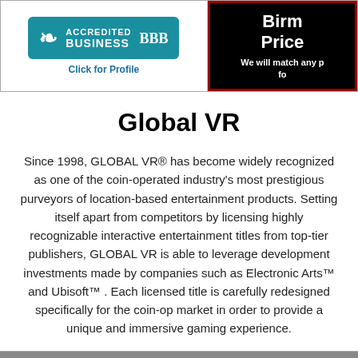[Figure (logo): BBB Accredited Business badge with teal background, stylized B symbol and 'BBB' text, 'Click for Profile' link below]
[Figure (other): Black panel with red border showing partial text 'Birm... Price...' and 'We will match any p... fo...']
Global VR
Since 1998, GLOBAL VR® has become widely recognized as one of the coin-operated industry's most prestigious purveyors of location-based entertainment products. Setting itself apart from competitors by licensing highly recognizable interactive entertainment titles from top-tier publishers, GLOBAL VR is able to leverage development investments made by companies such as Electronic Arts™ and Ubisoft™ . Each licensed title is carefully redesigned specifically for the coin-op market in order to provide a unique and immersive gaming experience.